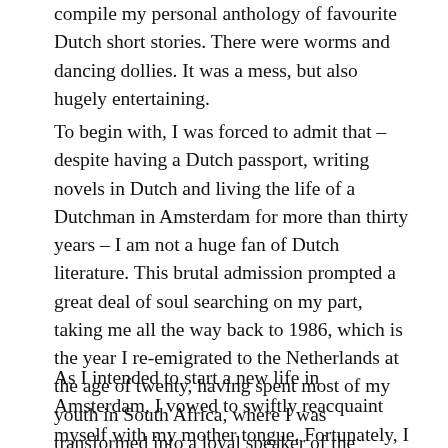compile my personal anthology of favourite Dutch short stories. There were worms and dancing dollies. It was a mess, but also hugely entertaining.
To begin with, I was forced to admit that – despite having a Dutch passport, writing novels in Dutch and living the life of a Dutchman in Amsterdam for more than thirty years – I am not a huge fan of Dutch literature. This brutal admission prompted a great deal of soul searching on my part, taking me all the way back to 1986, which is the year I re-emigrated to the Netherlands at the age of twenty, having spent most of my youth in South Africa, where I was transformed into a loyal speaker of the Queen's English.
As I intended to start a new life in Amsterdam, I vowed to swiftly reacquaint myself with my mother tongue. Fortunately, I had a head start over other